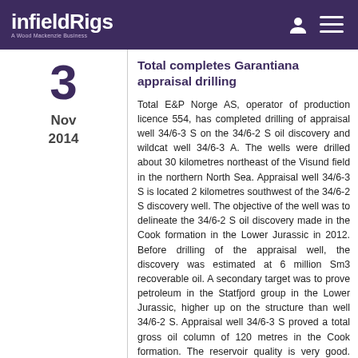infieldRigs — A Wood Mackenzie Business
3
Nov
2014
Total completes Garantiana appraisal drilling
Total E&P Norge AS, operator of production licence 554, has completed drilling of appraisal well 34/6-3 S on the 34/6-2 S oil discovery and wildcat well 34/6-3 A. The wells were drilled about 30 kilometres northeast of the Visund field in the northern North Sea. Appraisal well 34/6-3 S is located 2 kilometres southwest of the 34/6-2 S discovery well. The objective of the well was to delineate the 34/6-2 S oil discovery made in the Cook formation in the Lower Jurassic in 2012. Before drilling of the appraisal well, the discovery was estimated at 6 million Sm3 recoverable oil. A secondary target was to prove petroleum in the Statfjord group in the Lower Jurassic, higher up on the structure than well 34/6-2 S. Appraisal well 34/6-3 S proved a total gross oil column of 120 metres in the Cook formation. The reservoir quality is very good. The Statfjord group is dry.